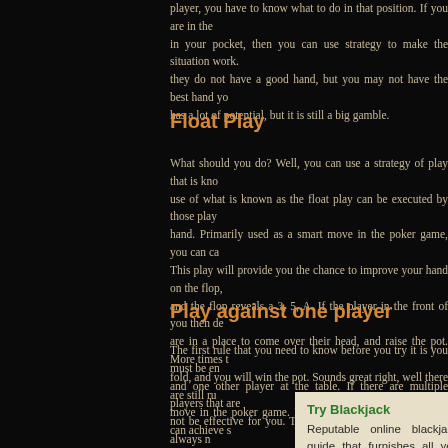player, you have to know what to do in that position. If you are in the in your pocket, then you can use strategy to make the situation work. they do not have a good hand, but you may not have the best hand yo has a lot of potential, but it is still a big gamble.
Float Play
What should you do? Well, you can use a strategy of play that is kno use of what is known as the float play can be executed by those play hand. Primarily used as a smart move in the poker game, you can ca This play will provide you the chance to improve your hand on the flop, and the flop reveals a 3, 5, A. If the player in the front of you then de are in a place to come over their head, and raise the pot. More times t fold, and you will win the pot. Sounds great right, well there are still ru move in the poker game. By using these simple rules you can achieve s
Play against one player
The first rule that you need to know before you try it is you must be en and one other player at the table. If there are multiple players that are not be effective for you. The second thing that you should always n player position than the other opponent at the table. Let's say that you are not in a position that you can use this tool of play. This is only eff front of you, at the poker table.
Try Blackjack
Reputable online blackjack guide that furnishes all you need to start to play blackjack.
Free Slots
Check online s slots online ga